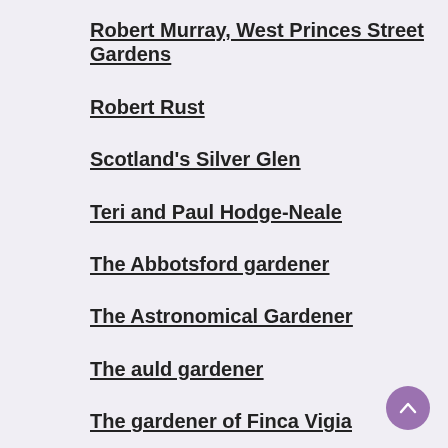Robert Murray, West Princes Street Gardens
Robert Rust
Scotland's Silver Glen
Teri and Paul Hodge-Neale
The Abbotsford gardener
The Astronomical Gardener
The auld gardener
The gardener of Finca Vigia